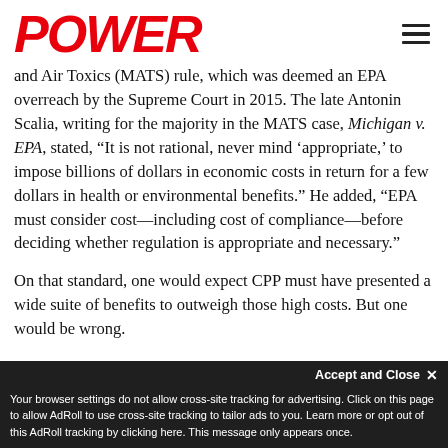POWER
and Air Toxics (MATS) rule, which was deemed an EPA overreach by the Supreme Court in 2015. The late Antonin Scalia, writing for the majority in the MATS case, Michigan v. EPA, stated, “It is not rational, never mind ‘appropriate,’ to impose billions of dollars in economic costs in return for a few dollars in health or environmental benefits.” He added, “EPA must consider cost—including cost of compliance—before deciding whether regulation is appropriate and necessary.”
On that standard, one would expect CPP must have presented a wide suite of benefits to outweigh those high costs. But one would be wrong.
Accept and Close ×
Your browser settings do not allow cross-site tracking for advertising. Click on this page to allow AdRoll to use cross-site tracking to tailor ads to you. Learn more or opt out of this AdRoll tracking by clicking here. This message only appears once.